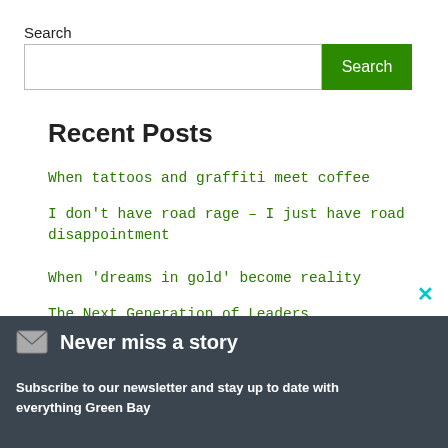Search
[Search input and button]
Recent Posts
When tattoos and graffiti meet coffee
I don't have road rage – I just have road disappointment
When 'dreams in gold' become reality
The Next Generation of Leaders
The Next Generation of Musicians
Never miss a story
Subscribe to our newsletter and stay up to date with everything Green Bay